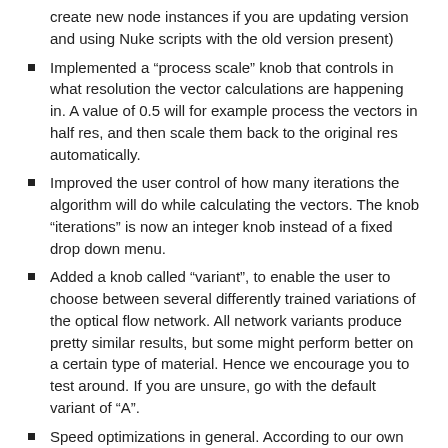create new node instances if you are updating version and using Nuke scripts with the old version present)
Implemented a “process scale” knob that controls in what resolution the vector calculations are happening in. A value of 0.5 will for example process the vectors in half res, and then scale them back to the original res automatically.
Improved the user control of how many iterations the algorithm will do while calculating the vectors. The knob “iterations” is now an integer knob instead of a fixed drop down menu.
Added a knob called “variant”, to enable the user to choose between several differently trained variations of the optical flow network. All network variants produce pretty similar results, but some might perform better on a certain type of material. Hence we encourage you to test around. If you are unsure, go with the default variant of “A”.
Speed optimizations in general. According to our own internal testing, the plugin is now about 15% faster to render overall.
Added an option for processing in mixed precision.